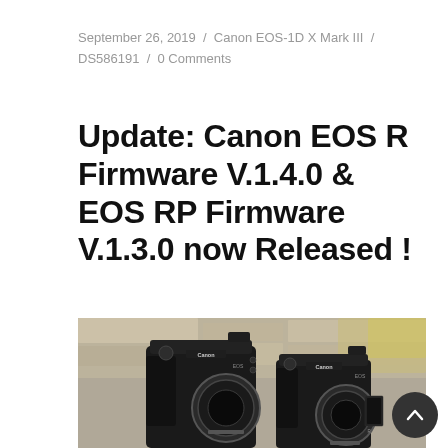September 26, 2019 / Canon EOS-1D X Mark III / DS586191 / 0 Comments
Update: Canon EOS R Firmware V.1.4.0 & EOS RP Firmware V.1.3.0 now Released !
[Figure (photo): Two Canon mirrorless cameras (EOS R and EOS RP) displayed side by side against a stone wall background. Both cameras are black without lenses attached, showing their lens mounts.]